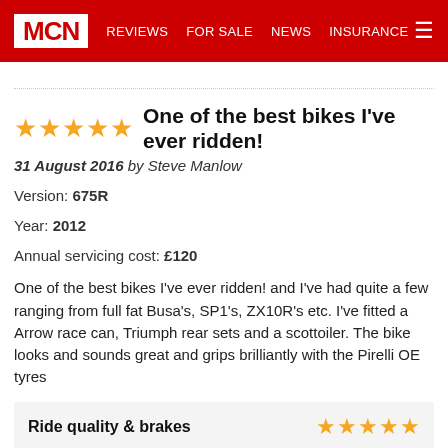MCN | REVIEWS | FOR SALE | NEWS | INSURANCE
One of the best bikes I've ever ridden!
31 August 2016 by Steve Manlow
Version: 675R
Year: 2012
Annual servicing cost: £120
One of the best bikes I've ever ridden! and I've had quite a few ranging from full fat Busa's, SP1's, ZX10R's etc. I've fitted a Arrow race can, Triumph rear sets and a scottoiler. The bike looks and sounds great and grips brilliantly with the Pirelli OE tyres
Ride quality & brakes